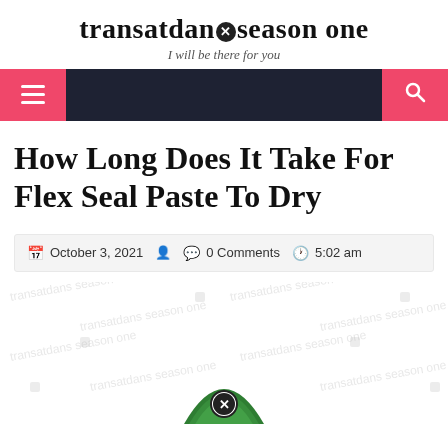transatdans⊗season one — I will be there for you
How Long Does It Take For Flex Seal Paste To Dry
October 3, 2021 · 0 Comments · 5:02 am
[Figure (other): Watermark/background area with repeated faint gray text and a partial circular logo at the bottom center]